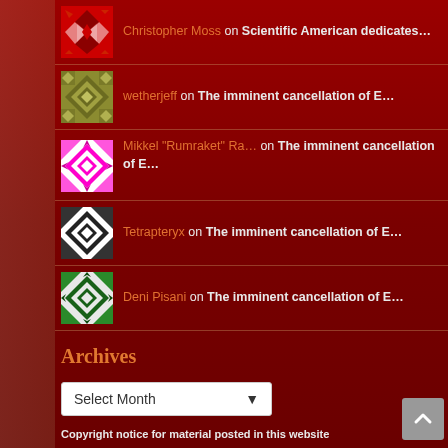Christopher Moss on Scientific American dedicates…
wetherjeff on The imminent cancellation of E…
Mikkel "Rumraket" Ra… on The imminent cancellation of E…
Tetrapteryx on The imminent cancellation of E…
Deni Pisani on The imminent cancellation of E…
Archives
Select Month
Copyright notice for material posted in this website